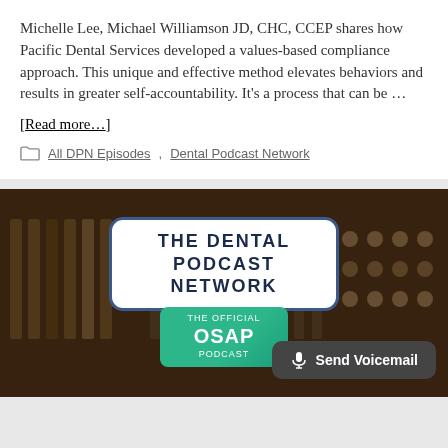Michelle Lee, Michael Williamson JD, CHC, CCEP shares how Pacific Dental Services developed a values-based compliance approach. This unique and effective method elevates behaviors and results in greater self-accountability. It's a process that can be ...
[Read more...]
All DPN Episodes, Dental Podcast Network
[Figure (photo): Audio mixing board background with overlaid badge reading THE DENTAL PODCAST NETWORK, an OSAP podcast tag, and a Send Voicemail button.]